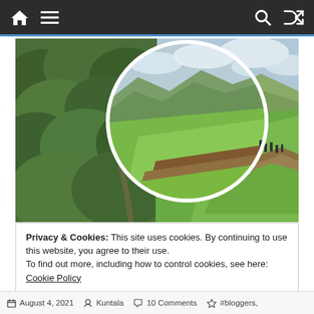Navigation bar with home, menu, search, and shuffle icons
[Figure (photo): Composite travel photo showing lush green forested hillside on the left and a circular inset image of green mountain slopes with people standing on a rocky overlook and cloudy sky]
Privacy & Cookies: This site uses cookies. By continuing to use this website, you agree to their use.
To find out more, including how to control cookies, see here: Cookie Policy
Close and accept
August 4, 2021   Kuntala   10 Comments   #bloggers,